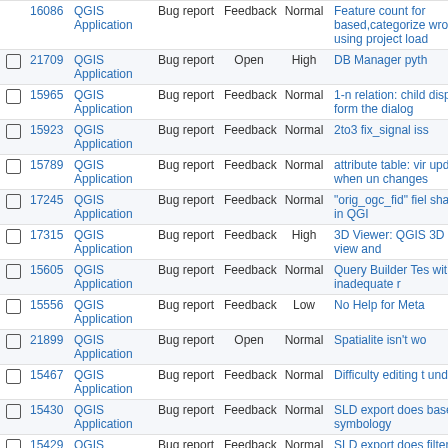|  | ID | Project | Type | Status | Priority | Title |
| --- | --- | --- | --- | --- | --- | --- |
|  | 16086 | QGIS Application | Bug report | Feedback | Normal | Feature count for based,categorize wrong when using project load |
|  | 21709 | QGIS Application | Bug report | Open | High | DB Manager pyth |
|  | 15965 | QGIS Application | Bug report | Feedback | Normal | 1-n relation: child displayed in form the dialog |
|  | 15923 | QGIS Application | Bug report | Feedback | Normal | 2to3 fix_signal iss |
|  | 15789 | QGIS Application | Bug report | Feedback | Normal | attribute table: vir updated when un changes |
|  | 17245 | QGIS Application | Bug report | Feedback | Normal | "orig_ogc_fid" fiel shapefiles in QGI |
|  | 17315 | QGIS Application | Bug report | Feedback | High | 3D Viewer: QGIS 3D Map view and |
|  | 15605 | QGIS Application | Bug report | Feedback | Normal | Query Builder Tes with inadequate r |
|  | 15556 | QGIS Application | Bug report | Feedback | Low | No Help for Meta |
|  | 21899 | QGIS Application | Bug report | Open | Normal | Spatialite isn't wo |
|  | 15467 | QGIS Application | Bug report | Feedback | Normal | Difficulty editing t underlaid |
|  | 15430 | QGIS Application | Bug report | Feedback | Normal | SLD export does based symbology |
|  | 15429 | QGIS Application | Bug report | Feedback | Normal | SLD export does filter |
|  | 15336 | QGIS Application | Bug report | Feedback | Normal | (Shape file) Laye project load |
|  | 15308 | QGIS Application | Bug report | Feedback | Normal | Switching to Sing |